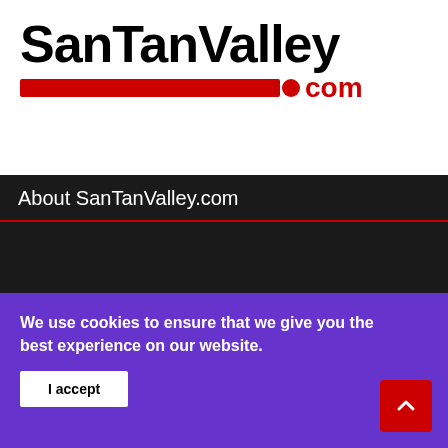[Figure (logo): SanTanValley.com logo — bold black 'SanTanValley' text with red horizontal bar and red '.com' text below]
About SanTanValley.com
[Figure (logo): Large white SanTanValley.com logo on dark background]
You can reach us via phone, text, email, website, social media and messenger channels. You can also contact us through our Contact Page.
We use cookies to ensure that we give you the best experience on our website.
I accept